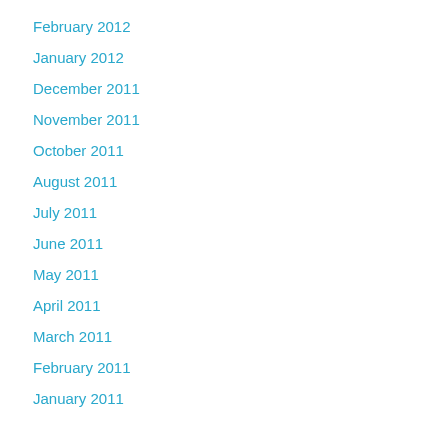February 2012
January 2012
December 2011
November 2011
October 2011
August 2011
July 2011
June 2011
May 2011
April 2011
March 2011
February 2011
January 2011